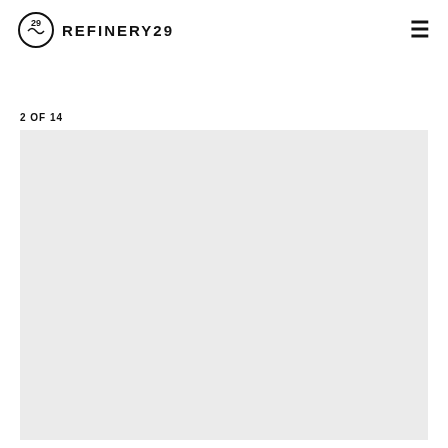REFINERY29
2 OF 14
[Figure (photo): Large light gray placeholder image area occupying most of the lower portion of the page]